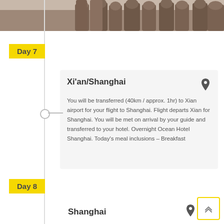[Figure (photo): Partial view of terracotta warrior statues from above, showing heads and shoulders in earthy brown tones]
Day 7
Xi'an/Shanghai
You will be transferred (40km / approx. 1hr) to Xian airport for your flight to Shanghai. Flight departs Xian for Shanghai. You will be met on arrival by your guide and transferred to your hotel. Overnight Ocean Hotel Shanghai. Today's meal inclusions – Breakfast
Day 8
Shanghai